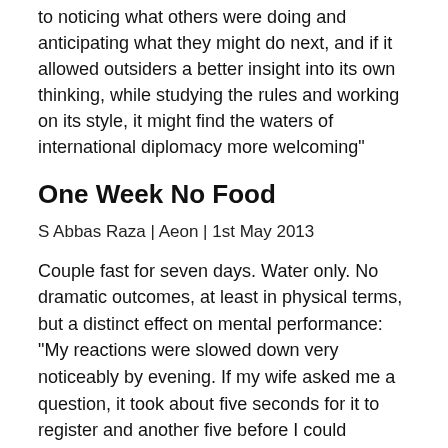to noticing what others were doing and anticipating what they might do next, and if it allowed outsiders a better insight into its own thinking, while studying the rules and working on its style, it might find the waters of international diplomacy more welcoming"
One Week No Food
S Abbas Raza | Aeon | 1st May 2013
Couple fast for seven days. Water only. No dramatic outcomes, at least in physical terms, but a distinct effect on mental performance: "My reactions were slowed down very noticeably by evening. If my wife asked me a question, it took about five seconds for it to register and another five before I could formulate and deliver a reply". Biggest surprise: the amount of time freed up by no meals and much less shopping
Death Of A Building